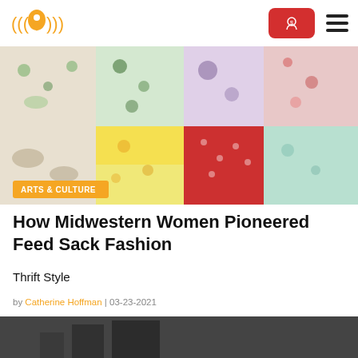Logo and navigation header with donate button
[Figure (photo): Colorful patchwork quilt fabrics displayed on a wall, featuring floral and patterned fabric swatches in various colors including green, blue, red, yellow, and teal]
How Midwestern Women Pioneered Feed Sack Fashion
Thrift Style
by Catherine Hoffman | 03-23-2021
[Figure (photo): Partial bottom image strip showing dark tones, bottom of page]